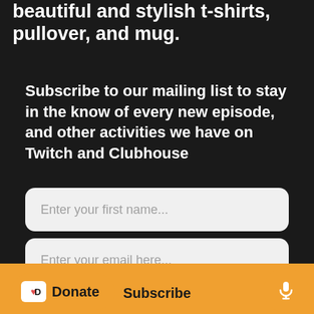beautiful and stylish t-shirts, pullover, and mug.
Subscribe to our mailing list to stay in the know of every new episode, and other activities we have on Twitch and Clubhouse
Enter your first name...
Enter your email here...
By signing up, you agree to receive email from this podcast
Donate
Subscribe